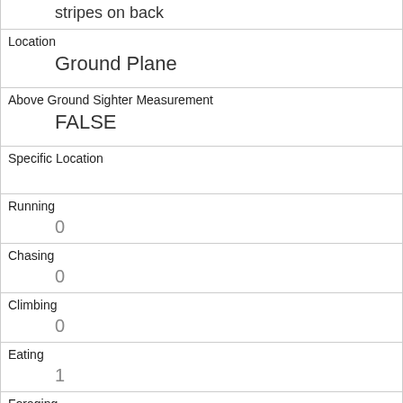| stripes on back |
| Location | Ground Plane |
| Above Ground Sighter Measurement | FALSE |
| Specific Location |  |
| Running | 0 |
| Chasing | 0 |
| Climbing | 0 |
| Eating | 1 |
| Foraging | 1 |
| Other Activities |  |
| Kuks | 0 |